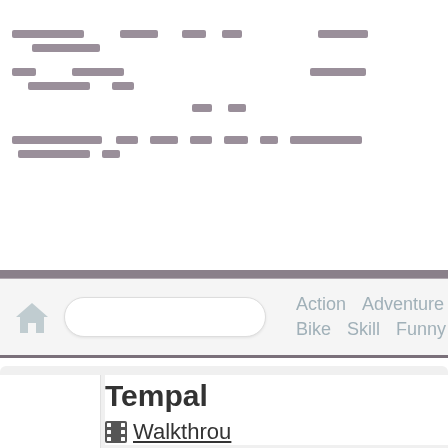[Figure (screenshot): Web page screenshot showing a navigation header with dashed banner rows at top, a nav bar with home icon, search box, and category links (Action, Adventure, Bike, Skill, Funny), and a content area with title 'Tempal...' and a 'Walkthrou...' link with film icon]
Action  Adventure  Bike  Skill  Funny
Tempal
Walkthroughthrough